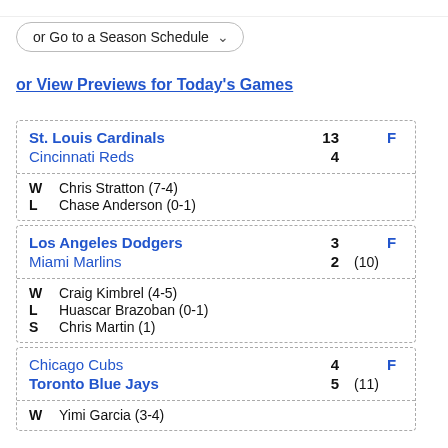or Go to a Season Schedule
or View Previews for Today's Games
| Team | Score | Status |
| --- | --- | --- |
| St. Louis Cardinals | 13 | F |
| Cincinnati Reds | 4 |  |
| W Chris Stratton (7-4) |  |  |
| L Chase Anderson (0-1) |  |  |
| Team | Score | Innings | Status |
| --- | --- | --- | --- |
| Los Angeles Dodgers | 3 |  | F |
| Miami Marlins | 2 | (10) |  |
| W Craig Kimbrel (4-5) |  |  |  |
| L Huascar Brazoban (0-1) |  |  |  |
| S Chris Martin (1) |  |  |  |
| Team | Score | Innings | Status |
| --- | --- | --- | --- |
| Chicago Cubs | 4 |  | F |
| Toronto Blue Jays | 5 | (11) |  |
| W Yimi Garcia (3-4) |  |  |  |